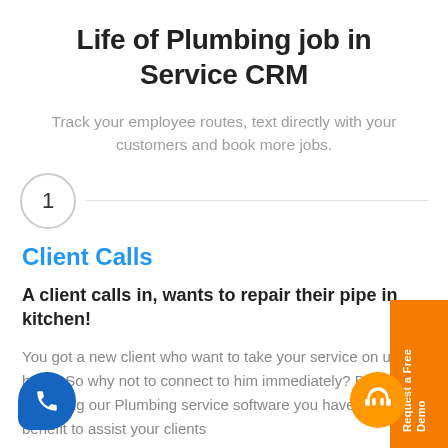Life of Plumbing job in Service CRM
Track your employee routes, text directly with your customers and book more jobs.
1
Client Calls
A client calls in, wants to repair their pipe in kitchen!
You got a new client who want to take your service on urgent basis, So why not to connect to him immediately? By operating our Plumbing service software you have the benefit to assist your clients